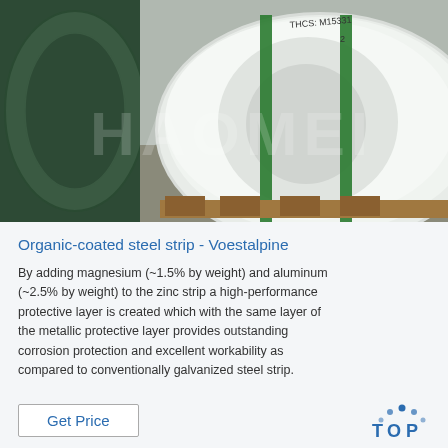[Figure (photo): A large white-wrapped steel coil/roll secured with green straps, sitting on wooden pallets in an industrial warehouse. A handwritten label is visible on top. A dark green painted wall or another coil is visible on the left. The image has a semi-transparent watermark reading 'HAOMEI'.]
Organic-coated steel strip - Voestalpine
By adding magnesium (~1.5% by weight) and aluminum (~2.5% by weight) to the zinc strip a high-performance protective layer is created which with the same layer of the metallic protective layer provides outstanding corrosion protection and excellent workability as compared to conventionally galvanized steel strip.
[Figure (logo): TOP logo with blue dots arranged in an arc above the word TOP in bold blue letters, with a stylized 'O' in the center of the word.]
Get Price